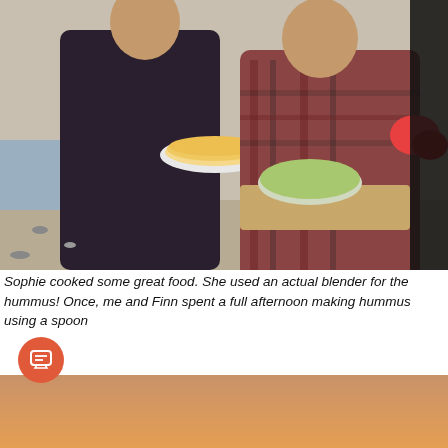[Figure (photo): Two people standing on a beach holding food — one holds a plate with flatbreads/tortillas, the other holds a large bowl of salad on a wooden cutting board with other food items. Partially cropped on the right.]
Sophie cooked some great food. She used an actual blender for the hummus! Once, me and Finn spent a full afternoon making hummus using a spoon
[Figure (photo): Sunset landscape photo showing silhouetted trees and hills against an orange-pink sky with a bird in flight. Partially cropped.]